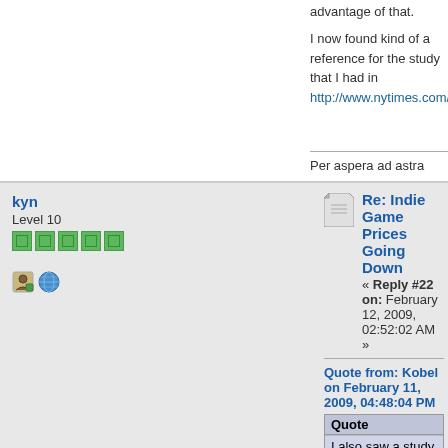advantage of that.
I now found kind of a reference for the study that I had in http://www.nytimes.com/2008/03/05/health/research/05ph
Per aspera ad astra
kyn - Re: Indie Game Prices Going Down - Reply #22 on: February 12, 2009, 02:52:02 AM
Quote from: Kobel on February 11, 2009, 04:48:04 PM
Quote: I also saw a study that females who have richer husban... With their husbands?
This is a very relevant question
Craig Stern - Re: Indie Game Prices Going Down - Reply #23 on: February 12, 2009, 11:52:33 AM
Quote from: Kobel on February 11, 2009, 04:48:04 PM
Quote: I also saw a study that females who have richer husb...
I'm not actually all that